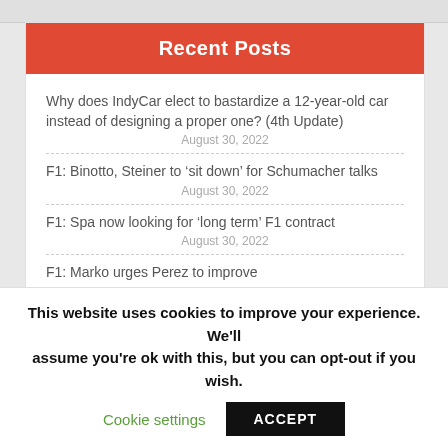Recent Posts
Why does IndyCar elect to bastardize a 12-year-old car instead of designing a proper one? (4th Update)
August 30, 2022
F1: Binotto, Steiner to ‘sit down’ for Schumacher talks
August 30, 2022
F1: Spa now looking for ‘long term’ F1 contract
August 30, 2022
F1: Marko urges Perez to improve
August 30, 2022
F1: Alpine boss expects Piastri ruling ‘soon’
This website uses cookies to improve your experience. We'll assume you're ok with this, but you can opt-out if you wish.
Cookie settings   ACCEPT